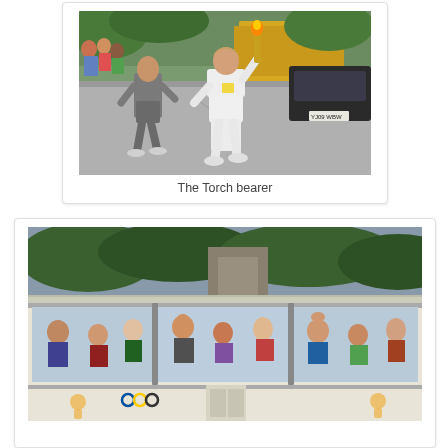[Figure (photo): A woman in white athletic clothing carrying an Olympic torch running down a street, accompanied by a man in grey athletic wear, with crowds and vehicles visible in the background.]
The Torch bearer
[Figure (photo): Side view of a bus with large windows showing passengers inside, parked or moving along a street with trees in the background. The bus has Olympic branding with illustrated figures on the lower side panel.]